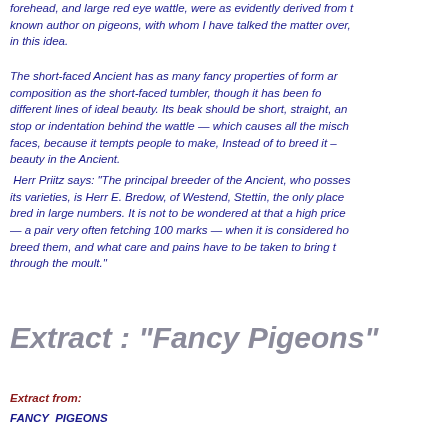forehead, and large red eye wattle, were as evidently derived from the known author on pigeons, with whom I have talked the matter over, in this idea.
The short-faced Ancient has as many fancy properties of form and composition as the short-faced tumbler, though it has been found different lines of ideal beauty. Its beak should be short, straight, and stop or indentation behind the wattle — which causes all the misch faces, because it tempts people to make, Instead of to breed it — beauty in the Ancient.
Herr Priitz says: "The principal breeder of the Ancient, who posses its varieties, is Herr E. Bredow, of Westend, Stettin, the only place bred in large numbers. It is not to be wondered at that a high price — a pair very often fetching 100 marks — when it is considered ho breed them, and what care and pains have to be taken to bring t through the moult."
Extract : "Fancy Pigeons"
Extract from:
FANCY  PIGEONS